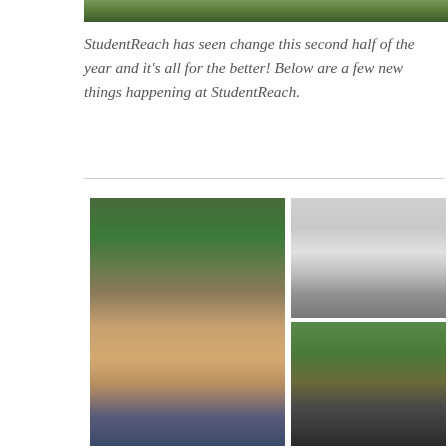[Figure (photo): Top banner photo showing trees/foliage, partially visible at top of page]
StudentReach has seen change this second half of the year and it's all for the better! Below are a few new things happening at StudentReach.
[Figure (photo): Portrait photo of a young man with short brown hair and beard, wearing a blue shirt, outdoors with green background]
[Figure (photo): Black and white photo of a large institutional building with columns, people standing outside]
[Figure (photo): Color photo of a group of young men outdoors among trees]